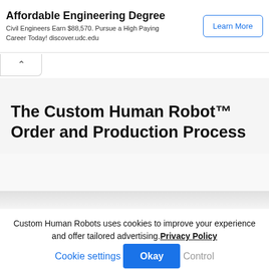[Figure (screenshot): Advertisement banner for affordable engineering degree. Title: 'Affordable Engineering Degree'. Subtitle: 'Civil Engineers Earn $88,570. Pursue a High Paying Career Today! discover.udc.edu'. Button: 'Learn More'.]
The Custom Human Robot™ Order and Production Process
Custom Human Robots uses cookies to improve your experience and offer tailored advertising. Privacy Policy
Cookie settings   Okay   Control